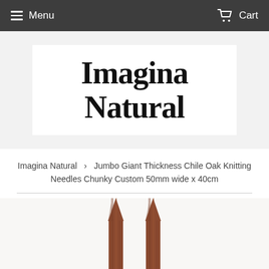Menu   Cart
Imagina Natural
Imagina Natural › Jumbo Giant Thickness Chile Oak Knitting Needles Chunky Custom 50mm wide x 40cm
[Figure (photo): Two large wooden knitting needles with pointed tips, made from Chile Oak wood, photographed against a white background. The needles are thick (50mm wide) and shown side by side.]